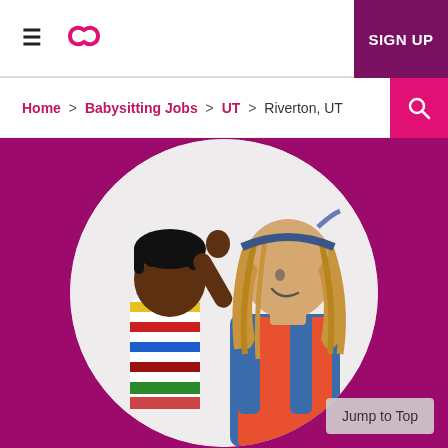≡  [logo icon]  SIGN UP
Home > Babysitting Jobs > UT > Riverton, UT
[Figure (photo): A smiling young woman with long curly hair and a blue bandana headband wearing denim overalls over a colorful top, interacting with a young child in a striped shirt. They are inside a white circle on a magenta/dark pink background.]
Jump to Top